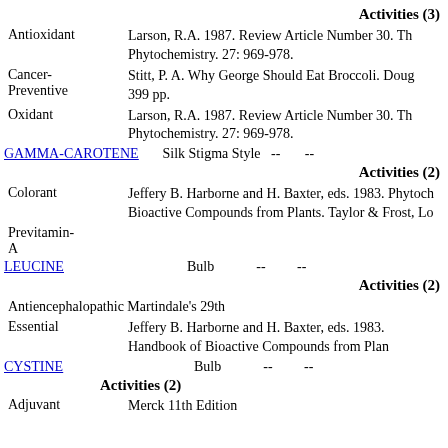Activities (3)
Antioxidant — Larson, R.A. 1987. Review Article Number 30. Phytochemistry. 27: 969-978.
Cancer-Preventive — Stitt, P. A. Why George Should Eat Broccoli. 399 pp.
Oxidant — Larson, R.A. 1987. Review Article Number 30. Phytochemistry. 27: 969-978.
GAMMA-CAROTENE   Silk Stigma Style   --   --
Activities (2)
Colorant — Jeffery B. Harborne and H. Baxter, eds. 1983. Phytochemical Dictionary. Handbook of Bioactive Compounds from Plants. Taylor & Frost, Lo
Previtamin-A
LEUCINE   Bulb   --   --
Activities (2)
Antiencephalopathic Martindale's 29th
Essential — Jeffery B. Harborne and H. Baxter, eds. 1983. Handbook of Bioactive Compounds from Plants.
CYSTINE   Bulb   --   --
Activities (2)
Adjuvant — Merck 11th Edition